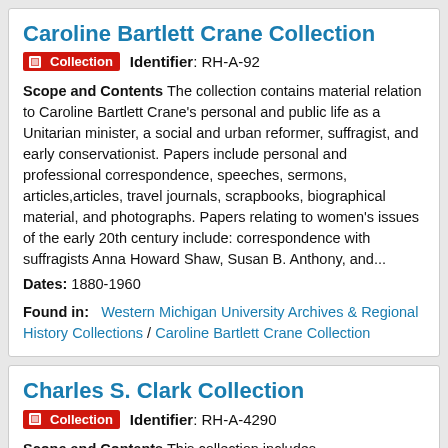Caroline Bartlett Crane Collection
Collection   Identifier: RH-A-92
Scope and Contents The collection contains material relation to Caroline Bartlett Crane's personal and public life as a Unitarian minister, a social and urban reformer, suffragist, and early conservationist. Papers include personal and professional correspondence, speeches, sermons, articles,articles, travel journals, scrapbooks, biographical material, and photographs. Papers relating to women's issues of the early 20th century include: correspondence with suffragists Anna Howard Shaw, Susan B. Anthony, and...
Dates: 1880-1960
Found in:   Western Michigan University Archives & Regional History Collections / Caroline Bartlett Crane Collection
Charles S. Clark Collection
Collection   Identifier: RH-A-4290
Scope and Contents This collection includes...